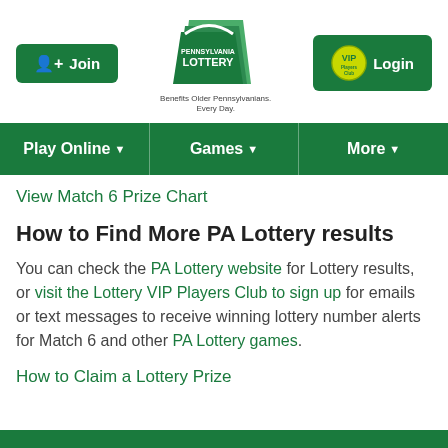[Figure (logo): Pennsylvania Lottery logo with keystone shape and 'Benefits Older Pennsylvanians. Every Day.' tagline, flanked by a Join button and VIP Players Club Login button]
[Figure (infographic): Green navigation bar with three menu items: Play Online, Games, More]
View Match 6 Prize Chart
How to Find More PA Lottery results
You can check the PA Lottery website for Lottery results, or visit the Lottery VIP Players Club to sign up for emails or text messages to receive winning lottery number alerts for Match 6 and other PA Lottery games.
How to Claim a Lottery Prize